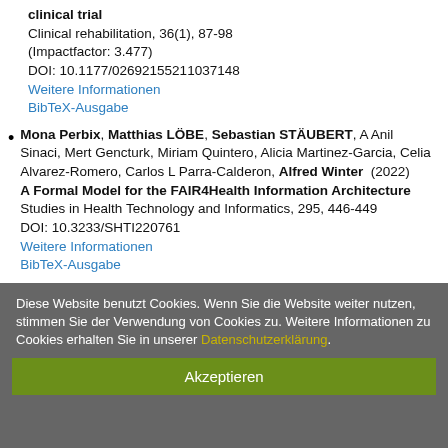and distal radius fractures after one year. A randomised clinical trial
Clinical rehabilitation, 36(1), 87-98
(Impactfactor: 3.477)
DOI: 10.1177/02692155211037148
Weitere Informationen
BibTeX-Ausgabe
Mona Perbix, Matthias LÖBE, Sebastian STÄUBERT, A Anil Sinaci, Mert Gencturk, Miriam Quintero, Alicia Martinez-Garcia, Celia Alvarez-Romero, Carlos L Parra-Calderon, Alfred Winter (2022) A Formal Model for the FAIR4Health Information Architecture
Studies in Health Technology and Informatics, 295, 446-449
DOI: 10.3233/SHTI220761
Weitere Informationen
BibTeX-Ausgabe
Diese Website benutzt Cookies. Wenn Sie die Website weiter nutzen, stimmen Sie der Verwendung von Cookies zu. Weitere Informationen zu Cookies erhalten Sie in unserer Datenschutzerklärung.
Akzeptieren